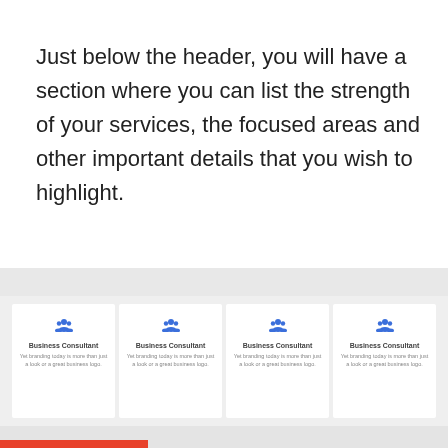Just below the header, you will have a section where you can list the strength of your services, the focused areas and other important details that you wish to highlight.
[Figure (infographic): Four white cards on a grey background, each with a blue people/group icon, 'Business Consultant' title, and the text 'Yet branding today is more than just a look or a great business logo.']